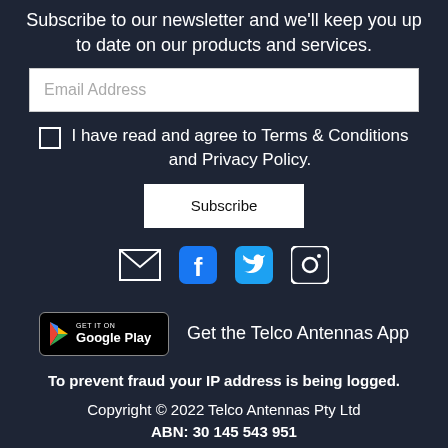Subscribe to our newsletter and we'll keep you up to date on our products and services.
Email Address
I have read and agree to Terms & Conditions and Privacy Policy.
Subscribe
[Figure (infographic): Social media icons: email envelope (white), Facebook (blue rounded square), Twitter (blue bird rounded square), Instagram (rounded square outline)]
[Figure (logo): Google Play badge with play icon and text 'GET IT ON Google Play']
Get the Telco Antennas App
To prevent fraud your IP address is being logged.
Copyright © 2022 Telco Antennas Pty Ltd
ABN: 30 145 543 951